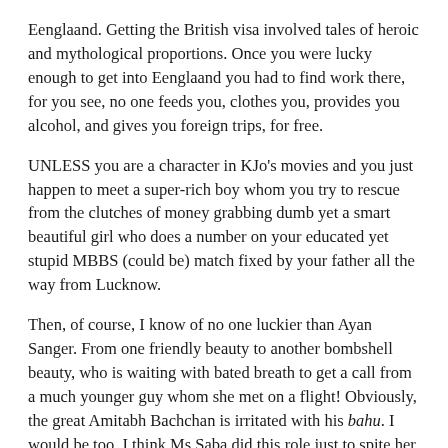Eenglaand. Getting the British visa involved tales of heroic and mythological proportions. Once you were lucky enough to get into Eenglaand you had to find work there, for you see, no one feeds you, clothes you, provides you alcohol, and gives you foreign trips, for free.
UNLESS you are a character in KJo's movies and you just happen to meet a super-rich boy whom you try to rescue from the clutches of money grabbing dumb yet a smart beautiful girl who does a number on your educated yet stupid MBBS (could be) match fixed by your father all the way from Lucknow.
Then, of course, I know of no one luckier than Ayan Sanger. From one friendly beauty to another bombshell beauty, who is waiting with bated breath to get a call from a much younger guy whom she met on a flight! Obviously, the great Amitabh Bachchan is irritated with his bahu. I would be too. I think Ms Saba did this role just to spite her in-laws.
Then, of course, there is this whole cancer angle. Once again in the days of yore, filmmakers would make characters get cancer, consumption, make them deliver babies without showing them pregnant, make two flowers touch to allude to a kiss metaphorically. I think Karan Johar has grown up watching the